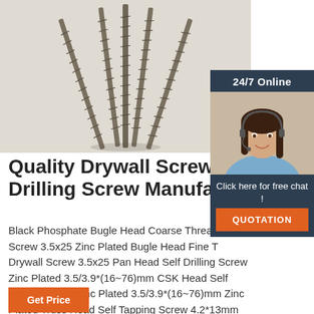[Figure (photo): Close-up photo of multiple drywall/self-drilling screws with fine threading arranged in a fan/V-shape against a light background]
[Figure (photo): 24/7 Online customer service representative (woman with headset) with chat overlay panel showing 'Click here for free chat!' and QUOTATION button]
Quality Drywall Screw & Self Drilling Screw Manufacturer
Black Phosphate Bugle Head Coarse Thread Drywall Screw 3.5x25 Zinc Plated Bugle Head Fine Thread Drywall Screw 3.5x25 Pan Head Self Drilling Screw Zinc Plated 3.5/3.9*(16~76)mm CSK Head Self Drilling Screw Zinc Plated 3.5/3.9*(16~76)mm Zinc Plated Truss Head Self Tapping Screw 4.2*13mm